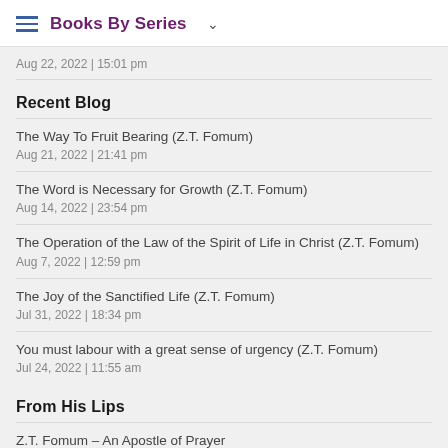Books By Series
Aug 22, 2022 | 15:01 pm
Recent Blog
The Way To Fruit Bearing (Z.T. Fomum)
Aug 21, 2022 | 21:41 pm
The Word is Necessary for Growth (Z.T. Fomum)
Aug 14, 2022 | 23:54 pm
The Operation of the Law of the Spirit of Life in Christ (Z.T. Fomum)
Aug 7, 2022 | 12:59 pm
The Joy of the Sanctified Life (Z.T. Fomum)
Jul 31, 2022 | 18:34 pm
You must labour with a great sense of urgency (Z.T. Fomum)
Jul 24, 2022 | 11:55 am
From His Lips
Z.T. Fomum – An Apostle of Prayer
Apr 19, 2021 | 14:57 pm
About His Co-workers: Boniface Menye (Zacharias T. Fomum)